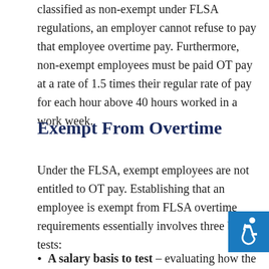classified as non-exempt under FLSA regulations, an employer cannot refuse to pay that employee overtime pay. Furthermore, non-exempt employees must be paid OT pay at a rate of 1.5 times their regular rate of pay for each hour above 40 hours worked in a work week.
Exempt From Overtime
Under the FLSA, exempt employees are not entitled to OT pay. Establishing that an employee is exempt from FLSA overtime requirements essentially involves three basic tests:
A salary basis to test – evaluating how the